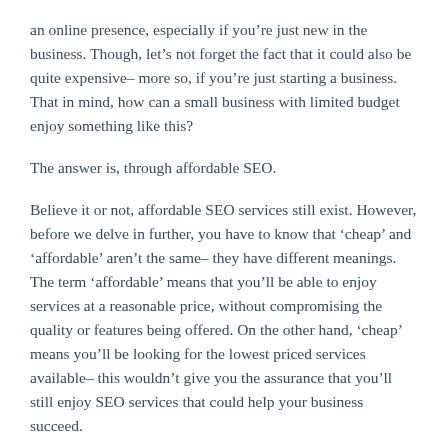an online presence, especially if you're just new in the business. Though, let's not forget the fact that it could also be quite expensive– more so, if you're just starting a business. That in mind, how can a small business with limited budget enjoy something like this?
The answer is, through affordable SEO.
Believe it or not, affordable SEO services still exist. However, before we delve in further, you have to know that 'cheap' and 'affordable' aren't the same– they have different meanings. The term 'affordable' means that you'll be able to enjoy services at a reasonable price, without compromising the quality or features being offered. On the other hand, 'cheap' means you'll be looking for the lowest priced services available– this wouldn't give you the assurance that you'll still enjoy SEO services that could help your business succeed.